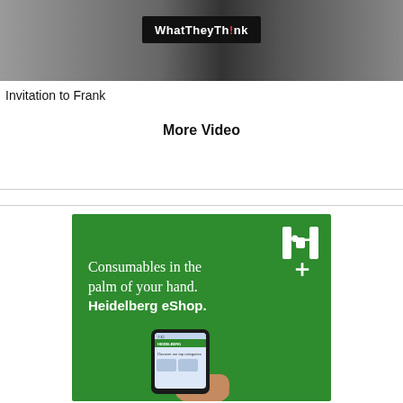[Figure (screenshot): Screenshot/photo of a WhatTheyThink video thumbnail showing printed materials and a WhatTheyThink logo on a dark device]
Invitation to Frank
More Video
[Figure (advertisement): Heidelberg eShop advertisement on green background with H logo and text: Consumables in the palm of your hand. Heidelberg eShop. Shows a smartphone with Heidelberg app.]